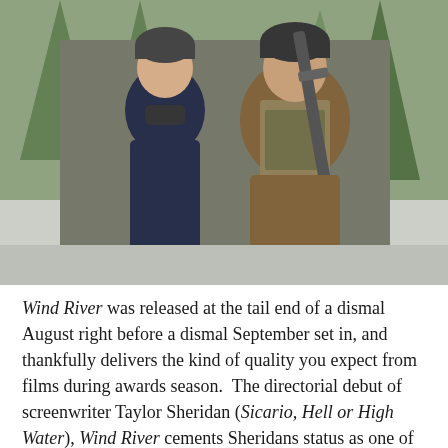[Figure (photo): Two people in winter clothing standing outdoors among snow-covered trees. On the left is a woman in a dark navy coat with a scarf and knit hat looking alarmed. On the right is a man in a brown jacket with a camouflage vest and knit hat holding a rifle.]
Wind River was released at the tail end of a dismal August right before a dismal September set in, and thankfully delivers the kind of quality you expect from films during awards season.  The directorial debut of screenwriter Taylor Sheridan (Sicario, Hell or High Water), Wind River cements Sheridans status as one of the best writers working for the screen today and shows him as a promising talent behind the camera.  Wind River is a tense, beautifully-filmed